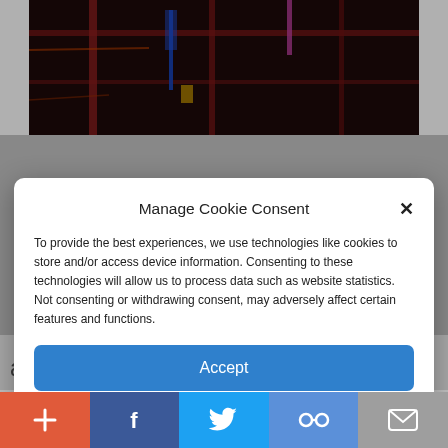[Figure (photo): Dark-toned photograph showing industrial or architectural scene with red and blue lighting elements]
Manage Cookie Consent
To provide the best experiences, we use technologies like cookies to store and/or access device information. Consenting to these technologies will allow us to process data such as website statistics. Not consenting or withdrawing consent, may adversely affect certain features and functions.
Accept
Cookie Policy   Privacy Policy
and spilled hot chocolate everywhere. I